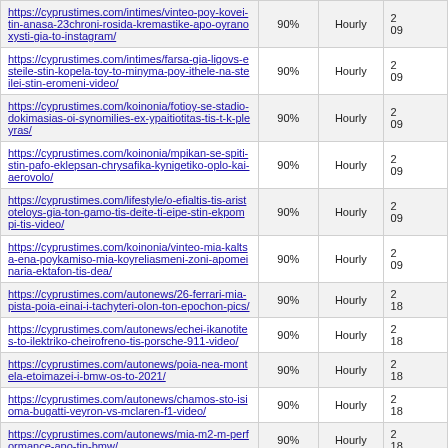| URL | Priority | Change Frequency | Last Modified |
| --- | --- | --- | --- |
| https://cyprustimes.com/intimes/vinteo-poy-kovei-tin-anasa-23chroni-rosida-kremastike-apo-oyranoxysti-gia-to-instagram/ | 90% | Hourly | 2...09... |
| https://cyprustimes.com/intimes/farsa-gia-ligovs-esteile-stin-kopela-toy-to-minyma-poy-ithele-na-steilei-stin-eromeni-video/ | 90% | Hourly | 2...09... |
| https://cyprustimes.com/koinonia/fotioy-se-stadio-dokimasias-oi-synomilies-ex-ypaitiotitas-tis-t-k-pleyras/ | 90% | Hourly | 2...09... |
| https://cyprustimes.com/koinonia/mpikan-se-spiti-stin-pafo-eklepsan-chrysafika-kynigetiko-oplo-kai-aerovolo/ | 90% | Hourly | 2...09... |
| https://cyprustimes.com/lifestyle/o-efialtis-tis-aristoteloys-gia-ton-gamo-tis-deite-ti-eipe-stin-ekpompi-tis-video/ | 90% | Hourly | 2...09... |
| https://cyprustimes.com/koinonia/vinteo-mia-kaltsa-ena-poykamiso-mia-koyreliasmeni-zoni-apomeinaria-ektafon-tis-dea/ | 90% | Hourly | 2...09... |
| https://cyprustimes.com/autonews/26-ferrari-mia-pista-poia-einai-i-tachyteri-olon-ton-epochon-pics/ | 90% | Hourly | 2...18... |
| https://cyprustimes.com/autonews/echei-ikanotites-to-ilektriko-cheirofreno-tis-porsche-911-video/ | 90% | Hourly | 2...18... |
| https://cyprustimes.com/autonews/poia-nea-montela-etoimazei-i-bmw-os-to-2021/ | 90% | Hourly | 2...18... |
| https://cyprustimes.com/autonews/chamos-sto-isioma-bugatti-veyron-vs-mclaren-f1-video/ | 90% | Hourly | 2...18... |
| https://cyprustimes.com/autonews/mia-m2-m-performance-apo-tin-bmw/ | 90% | Hourly | 2...18... |